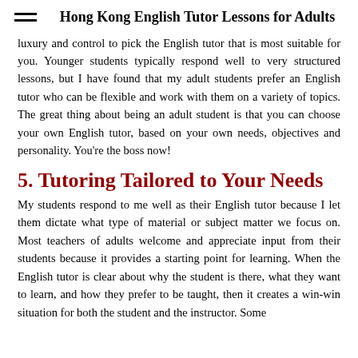Hong Kong English Tutor Lessons for Adults
luxury and control to pick the English tutor that is most suitable for you. Younger students typically respond well to very structured lessons, but I have found that my adult students prefer an English tutor who can be flexible and work with them on a variety of topics. The great thing about being an adult student is that you can choose your own English tutor, based on your own needs, objectives and personality. You're the boss now!
5. Tutoring Tailored to Your Needs
My students respond to me well as their English tutor because I let them dictate what type of material or subject matter we focus on. Most teachers of adults welcome and appreciate input from their students because it provides a starting point for learning. When the English tutor is clear about why the student is there, what they want to learn, and how they prefer to be taught, then it creates a win-win situation for both the student and the instructor. Some